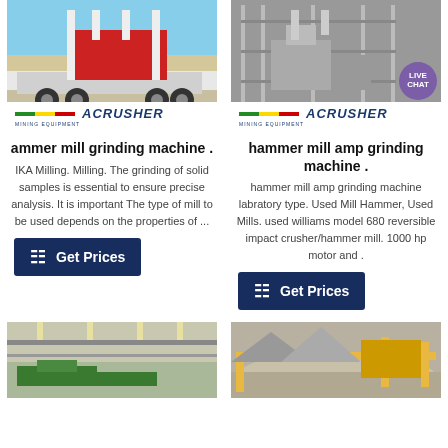[Figure (photo): Photo of a mobile jaw crusher on a truck trailer, ACRUSHER Mining Equipment branding at bottom]
[Figure (photo): Photo of an industrial processing plant with steel structure, ACRUSHER branding, LIVE CHAT bubble overlay]
ammer mill grinding machine .
IKA Milling. Milling. The grinding of solid samples is essential to ensure precise analysis. It is important The type of mill to be used depends on the properties of ...
hammer mill amp grinding machine .
hammer mill amp grinding machine labratory type. Used Mill Hammer, Used Mills. used williams model 680 reversible impact crusher/hammer mill. 1000 hp motor and .
[Figure (photo): Get Prices button - left column]
[Figure (photo): Get Prices button - right column]
[Figure (photo): Photo of industrial conveyor/hammer mill machinery in green, indoors]
[Figure (photo): Photo of outdoor aggregate/crush site with yellow machinery]